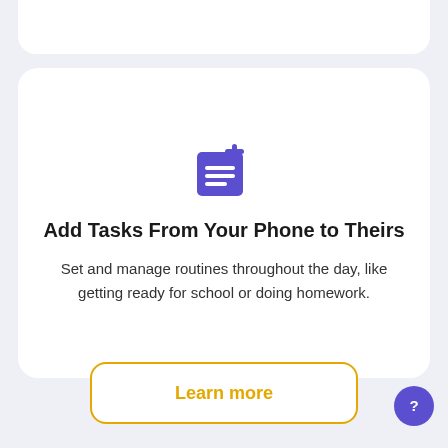[Figure (illustration): Purple add-task icon: a document with lines and a plus sign in the top-right corner]
Add Tasks From Your Phone to Theirs
Set and manage routines throughout the day, like getting ready for school or doing homework.
Learn more